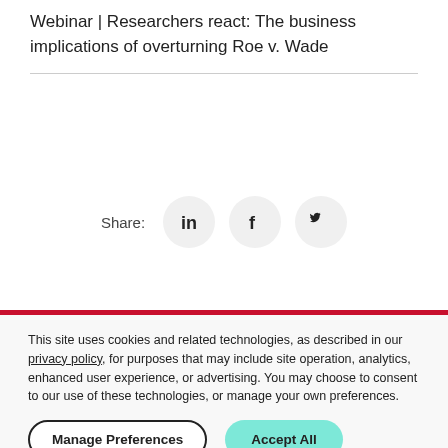Webinar | Researchers react: The business implications of overturning Roe v. Wade
[Figure (infographic): Share icons row with label 'Share:' followed by LinkedIn, Facebook, and Twitter circular icon buttons]
This site uses cookies and related technologies, as described in our privacy policy, for purposes that may include site operation, analytics, enhanced user experience, or advertising. You may choose to consent to our use of these technologies, or manage your own preferences.
Manage Preferences   Accept All